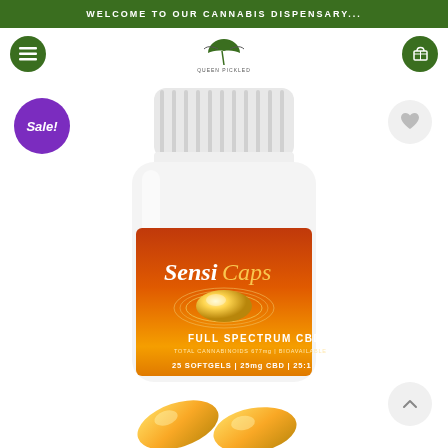WELCOME TO OUR CANNABIS DISPENSARY...
[Figure (logo): Website logo with cannabis leaf icon and text 'Queen Pickled']
[Figure (photo): SensiCaps Full Spectrum CBD softgel bottle product photo. White pill bottle with red/orange gradient label reading 'SensiCaps Full Spectrum CBD, Total Cannabinoids 677mg, Bioavailable, 25 Softgels, 25mg CBD, 25:1'. Gold softgel capsules shown in foreground. Sale badge and wishlist button visible.]